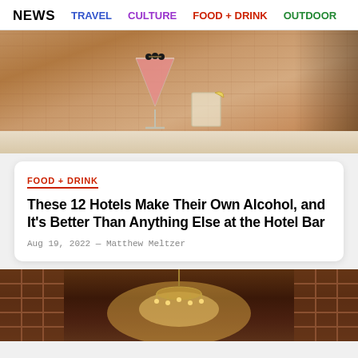NEWS  TRAVEL  CULTURE  FOOD + DRINK  OUTDOOR
[Figure (photo): A pink martini cocktail with dark garnishes and a white rocks glass with citrus wedge on a bar counter, warm brick wall background]
FOOD + DRINK
These 12 Hotels Make Their Own Alcohol, and It's Better Than Anything Else at the Hotel Bar
Aug 19, 2022 — Matthew Meltzer
[Figure (photo): Interior of a rustic wood wine cellar or barn with a chandelier glowing warmly, wine racks visible on both sides]